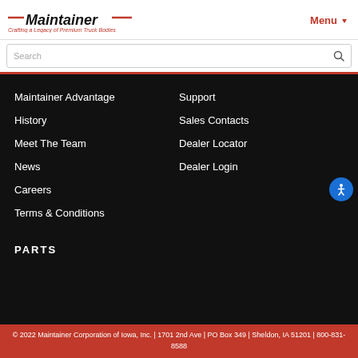[Figure (logo): Maintainer logo with red accents and tagline 'Crafting a Legacy of Premium Truck Bodies']
Menu
Search
Maintainer Advantage
History
Meet The Team
News
Careers
Terms & Conditions
Support
Sales Contacts
Dealer Locator
Dealer Login
PARTS
© 2022 Maintainer Corporation of Iowa, Inc. | 1701 2nd Ave | PO Box 349 | Sheldon, IA 51201 | 800-831-8588